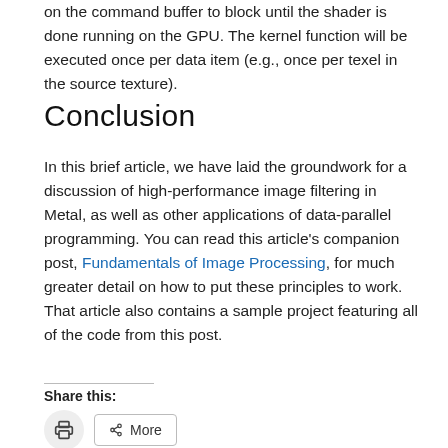on the command buffer to block until the shader is done running on the GPU. The kernel function will be executed once per data item (e.g., once per texel in the source texture).
Conclusion
In this brief article, we have laid the groundwork for a discussion of high-performance image filtering in Metal, as well as other applications of data-parallel programming. You can read this article’s companion post, Fundamentals of Image Processing, for much greater detail on how to put these principles to work. That article also contains a sample project featuring all of the code from this post.
Share this:
Print
More